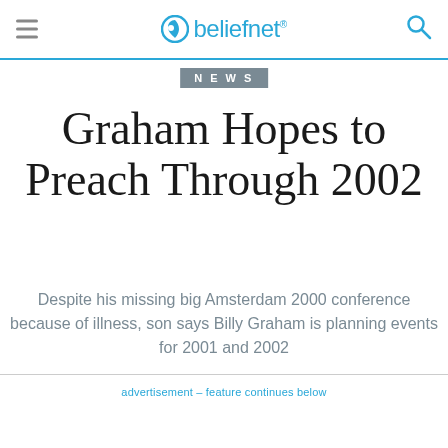beliefnet
NEWS
Graham Hopes to Preach Through 2002
Despite his missing big Amsterdam 2000 conference because of illness, son says Billy Graham is planning events for 2001 and 2002
advertisement – feature continues below